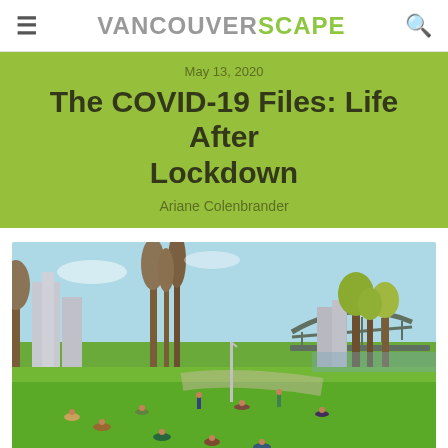VANCOUVERSCAPE
May 13, 2020
The COVID-19 Files: Life After Lockdown
Ariane Colenbrander
[Figure (photo): Outdoor park scene in Vancouver on a sunny day. People relaxing on green grass, tall trees in the background, a bridge (Burrard Bridge) and city buildings visible in the distance under a blue sky.]